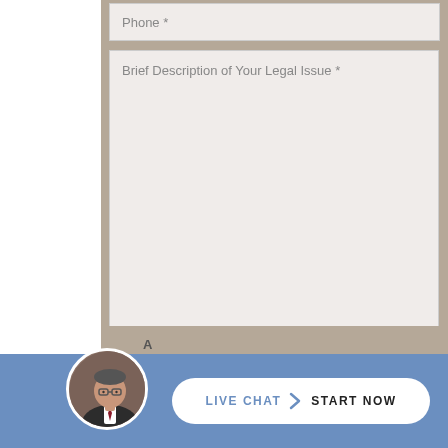Phone *
Brief Description of Your Legal Issue *
[Figure (screenshot): reCAPTCHA widget with checkbox labeled I'm not a robot and reCAPTCHA logo with Privacy and Terms links]
Submit
[Figure (screenshot): Live chat button with attorney photo avatar, LIVE CHAT > START NOW text on white pill-shaped button on blue bar]